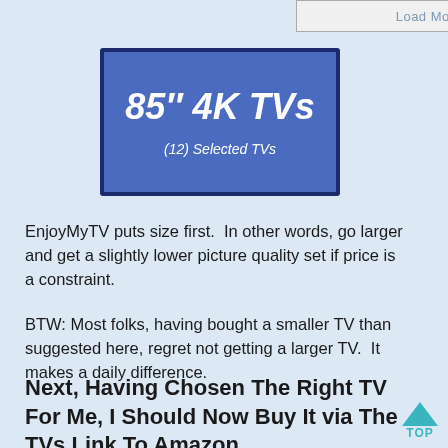[Figure (other): Load More button]
[Figure (other): Banner showing '85" 4K TVs' with subtitle '(12) Selected TVs' on blue background with dark border]
EnjoyMyTV puts size first.  In other words, go larger and get a slightly lower picture quality set if price is a constraint.
BTW: Most folks, having bought a smaller TV than suggested here, regret not getting a larger TV.  It makes a daily difference.
Next, Having Chosen The Right TV For Me, I Should Now Buy It via The TVs Link To Amazon